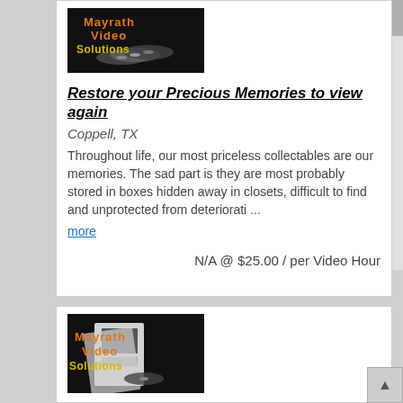[Figure (logo): Mayrath Video Solutions logo with DVDs on dark background]
Restore your Precious Memories to view again
Coppell, TX
Throughout life, our most priceless collectables are our memories. The sad part is they are most probably stored in boxes hidden away in closets, difficult to find and unprotected from deteriorati ...
more
N/A @ $25.00 / per Video Hour
[Figure (logo): Mayrath Video Solutions logo with DVDs on dark background (second listing)]